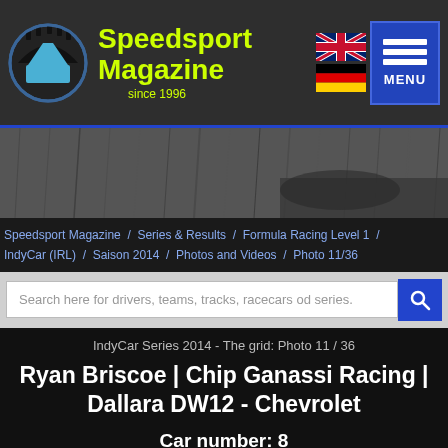Speedsport Magazine since 1996
[Figure (screenshot): Rain/wet weather photo banner]
Speedsport Magazine / Series & Results / Formula Racing Level 1 / IndyCar (IRL) / Saison 2014 / Photos and Videos / Photo 11/36
Search here for drivers, teams, tracks, racecars od series.
IndyCar Series 2014 - The grid: Photo 11 / 36
Ryan Briscoe | Chip Ganassi Racing | Dallara DW12 - Chevrolet
Car number: 8